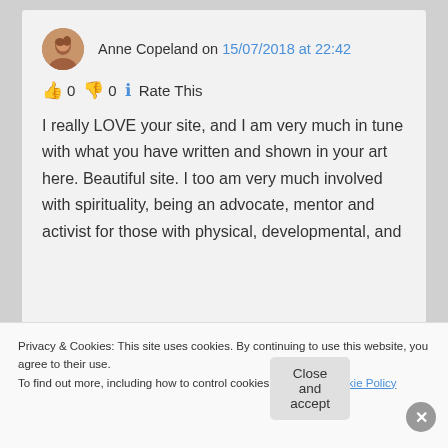Anne Copeland on 15/07/2018 at 22:42
👍 0 👎 0 ℹ Rate This
I really LOVE your site, and I am very much in tune with what you have written and shown in your art here. Beautiful site. I too am very much involved with spirituality, being an advocate, mentor and activist for those with physical, developmental, and
Privacy & Cookies: This site uses cookies. By continuing to use this website, you agree to their use.
To find out more, including how to control cookies, see here: Cookie Policy